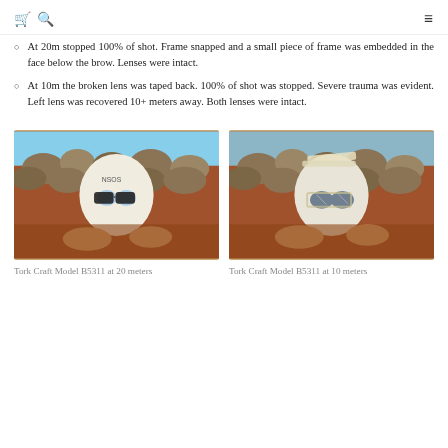[cart icon] [search icon] [menu icon]
At 20m stopped 100% of shot. Frame snapped and a small piece of frame was embedded in the face below the brow. Lenses were intact.
At 10m the broken lens was taped back. 100% of shot was stopped. Severe trauma was evident. Left lens was recovered 10+ meters away. Both lenses were intact.
[Figure (photo): Photo of a mannequin head wearing broken safety glasses (Tork Craft Model B5311) being held by hands, tested at 20 meters, with rocks in background]
Tork Craft Model B5311 at 20 meters
[Figure (photo): Photo of a mannequin head with severely damaged safety glasses (Tork Craft Model B5311) taped back together, held by hands, tested at 10 meters, with rocks in background]
Tork Craft Model B5311 at 10 meters